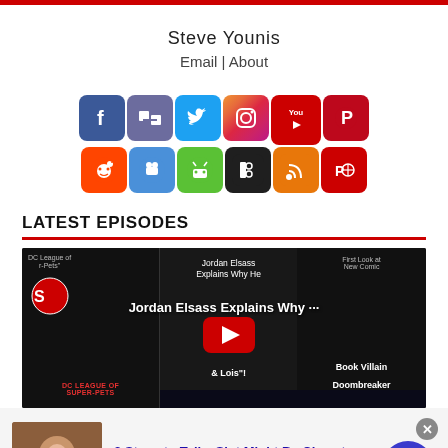Steve Younis
Email | About
[Figure (infographic): Row of social media icons: Facebook, Joomla/JB, Twitter, Instagram, YouTube, Pinterest in top row; Reddit, GameSpot/gaming, Android, BlackBerry, RSS, Podcast in bottom row]
LATEST EPISODES
[Figure (screenshot): YouTube video player showing three video thumbnails: 'DC League of Super-Pets available digitally', 'Jordan Elsass Explains Why He Left Superman & Lois', 'First Look at New Comic Book Villain Doombreaker'. YouTube play button visible in center.]
infolinks
3 Steps to Tell a Slot Might Be Close to
n/a
daily-winners.com